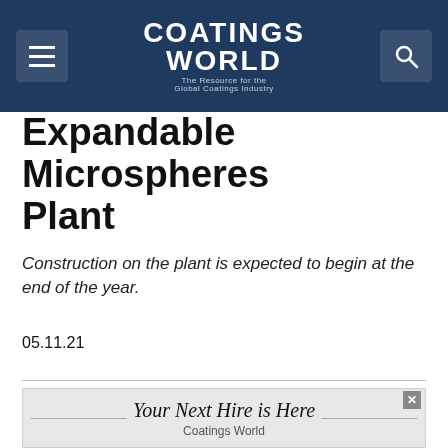Coatings World — The Resource for the Global Coatings Industry
Expandable Microspheres Plant
Construction on the plant is expected to begin at the end of the year.
05.11.21
ADDITIVES | BREAKING NEWS | INDUSTRY NEWS
[Figure (photo): Stock market ticker board showing 'Mergers and Acquisitions' with green and red price displays]
Huber Acquires Remaining
Your Next Hire is Here — Coatings World (advertisement)